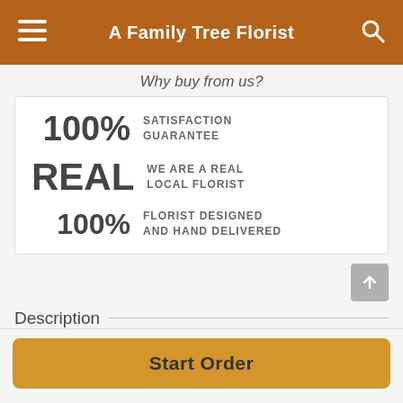A Family Tree Florist
Why buy from us?
100% SATISFACTION GUARANTEE
REAL WE ARE A REAL LOCAL FLORIST
100% FLORIST DESIGNED AND HAND DELIVERED
Description
Start Order